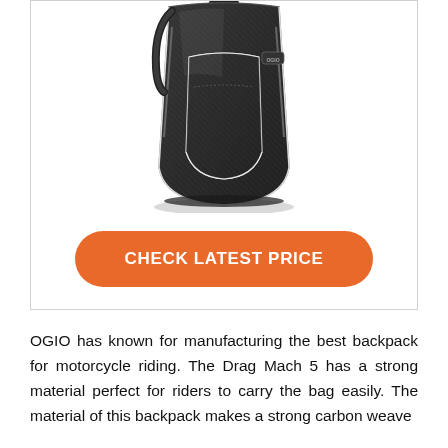[Figure (photo): OGIO Drag Mach 5 motorcycle backpack with carbon weave hard shell exterior, shown from the front/side angle. Black color with white piping trim.]
CHECK LATEST PRICE
OGIO has known for manufacturing the best backpack for motorcycle riding. The Drag Mach 5 has a strong material perfect for riders to carry the bag easily. The material of this backpack makes a strong carbon weave